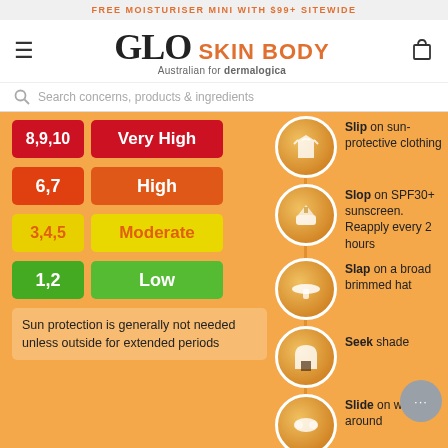FREE MOISTURISER MINI WITH $99+ SITEWIDE
[Figure (logo): GLO SKIN BODY logo - Australian for dermalogica]
Search concerns, products & ingredients
[Figure (infographic): UV Index infographic showing: 8,9,10 Very High; 6,7 High; 3,4,5 Moderate; 1,2 Low. Sun protection is generally not needed unless outside for extended periods. Right side shows: Slip on sun-protective clothing; Slop on SPF30+ sunscreen. Reapply every 2 hours; Slap on a broad brimmed hat; Seek shade; Slide on wrap-around (sunglasses)]